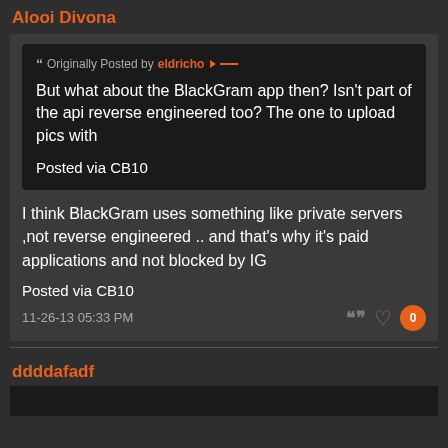Alooi Divona
Originally Posted by eldricho
But what about the BlackGram app then? Isn't part of the api reverse engineered too? The one to upload pics with

Posted via CB10
I think BlackGram uses something like private servers ,not reverse engineered .. and that's why it's paid applications and not blocked by IG

Posted via CB10
11-26-13 05:33 PM
ddddafadf